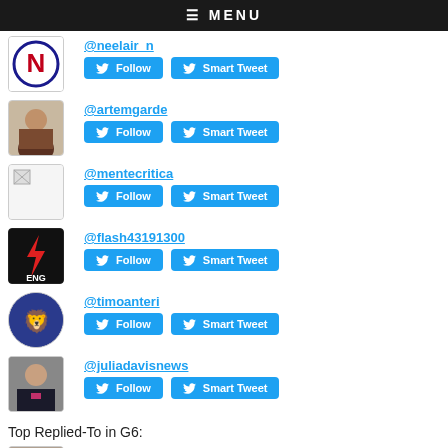≡ MENU
@neelair_n | Follow | Smart Tweet
@artemgarde | Follow | Smart Tweet
@mentecritica | Follow | Smart Tweet
@flash43191300 | Follow | Smart Tweet
@timoanteri | Follow | Smart Tweet
@juliadavisnews | Follow | Smart Tweet
Top Replied-To in G6:
@otto_eduard_le | Follow | Smart Tweet